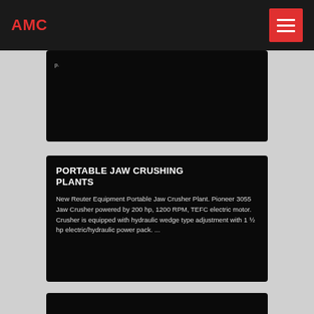AMC
[Figure (screenshot): Partially visible dark card at top, clipped content]
PORTABLE JAW CRUSHING PLANTS
New Reuter Equipment Portable Jaw Crusher Plant. Pioneer 3055 Jaw Crusher powered by 200 hp, 1200 RPM, TEFC electric motor. Crusher is equipped with hydraulic wedge type adjustment with 1 ½ hp electric/hydraulic power pack. ...
[Figure (screenshot): Partially visible dark card at bottom, clipped]